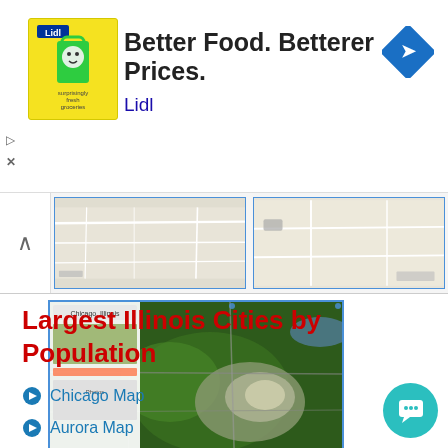[Figure (screenshot): Lidl advertisement banner: yellow logo box with Lidl branding, headline 'Better Food. Betterer Prices.' with 'Lidl' in blue below. Blue navigation arrow icon on right. Play and close controls on left.]
[Figure (map): Two road map thumbnail images side by side showing Illinois area]
[Figure (screenshot): Google Maps satellite/aerial view of Chicago metropolitan area with sidebar panel showing photos]
Largest Illinois Cities by Population
Chicago Map
Aurora Map